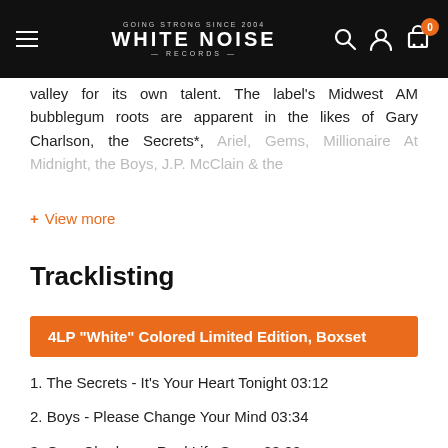White Noise Records
valley for its own talent. The label's Midwest AM bubblegum roots are apparent in the likes of Gary Charlson, the Secrets*, Ariel, Gems, Millionaire At Midnight, the Boys, J.P. McClain & the
+ View more
Tracklisting
4LP "White" Colored Limited Edition, Boxset
1. The Secrets - It's Your Heart Tonight 03:12
2. Boys - Please Change Your Mind 03:34
3. Gary Charlson - Real Life Saver 03:22
4. Arlie - No Way Baby 03:43